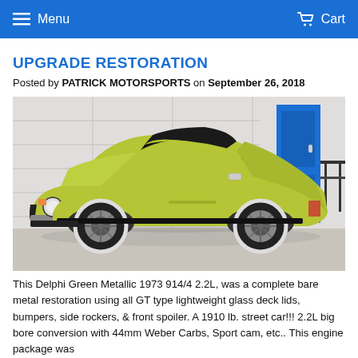Menu  Cart
UPGRADE RESTORATION
Posted by PATRICK MOTORSPORTS on September 26, 2018
[Figure (photo): Delphi Green Metallic 1973 Porsche 914/4 sports car with black targa top, photographed in front of a garage with white roll-up doors and a blue door.]
This Delphi Green Metallic 1973 914/4 2.2L, was a complete bare metal restoration using all GT type lightweight glass deck lids, bumpers, side rockers, & front spoiler. A 1910 lb. street car!!! 2.2L big bore conversion with 44mm Weber Carbs, Sport cam, etc.. This engine package was